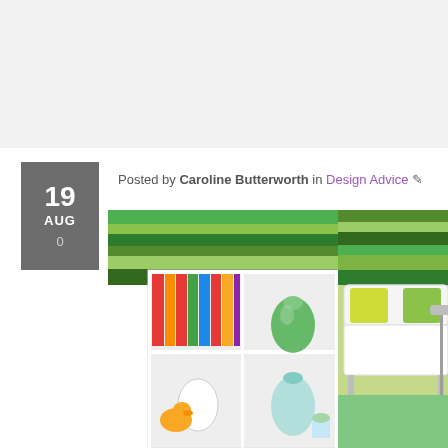[Figure (photo): Top banner area - light grey background, appears to be top portion of a webpage]
Posted by Caroline Butterworth in Design Advice ✏
[Figure (photo): Interior design photo showing a white shelving unit with colorful books, decorative items including a yellow rubber duck, white and teal vases, and a green glass vase, set against a green/yellow typographic wallpaper. To the right, a white sofa with green/yellow pillows on a green carpet, same typographic wallpaper behind.]